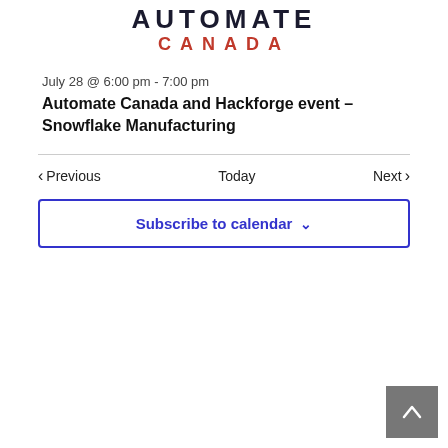[Figure (logo): Automate Canada logo with stylized text at top and 'CANADA' in red below]
July 28 @ 6:00 pm - 7:00 pm
Automate Canada and Hackforge event – Snowflake Manufacturing
< Previous   Today   Next >
Subscribe to calendar ∨
[Figure (other): Scroll to top button with caret/arrow pointing upward on gray background, bottom-right corner]